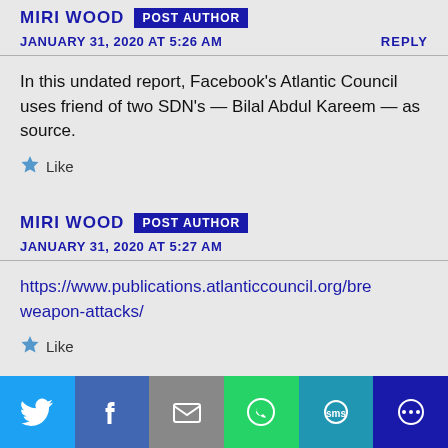MIRI WOOD POST AUTHOR
JANUARY 31, 2020 AT 5:26 AM   REPLY
In this undated report, Facebook's Atlantic Council uses friend of two SDN's — Bilal Abdul Kareem — as source.
Like
MIRI WOOD POST AUTHOR
JANUARY 31, 2020 AT 5:27 AM
https://www.publications.atlanticcouncil.org/bre…weapon-attacks/
Like